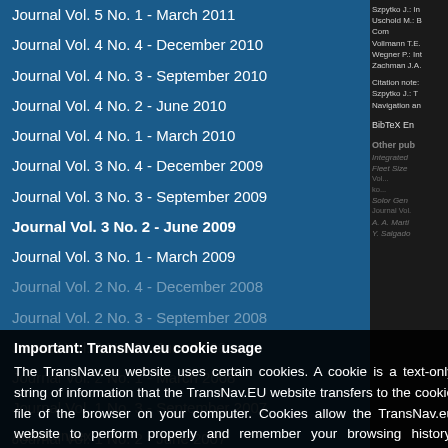Journal Vol. 5 No. 1 - March 2011
Journal Vol. 4 No. 4 - December 2010
Journal Vol. 4 No. 3 - September 2010
Journal Vol. 4 No. 2 - June 2010
Journal Vol. 4 No. 1 - March 2010
Journal Vol. 3 No. 4 - December 2009
Journal Vol. 3 No. 3 - September 2009
Journal Vol. 3 No. 2 - June 2009
Journal Vol. 3 No. 1 - March 2009
Journal Vol. 2 No. 4 - December 2008
Journal Vol. 2 No. 3 - September 2008
Journal Vol. 2 No. 2 - June 2008
Journal Vol. 2 No. 1 - March 2008
Journal Vol. 1 No. 3 - September 2007
Journal Vol. 1 No. 2 - June 2007
Journal Vol. 1 No. 1 - March 2007
Important: TransNav.eu cookie usage
The TransNav.eu website uses certain cookies. A cookie is a text-only string of information that the TransNav.EU website transfers to the cookie file of the browser on your computer. Cookies allow the TransNav.eu website to perform properly and remember your browsing history. Cookies also help a website to arrange content to match your preferred interests more quickly. Cookies alone cannot be used to identify you.
Akceptuje pliki cookies z tej strony
Author Index
Szpytko J.: In
Uschold M.: B
Com
Vollmann T.E.
Wegner P.: Int
Zachman J.A.
Citation note:
Szpytko J.: T
Navigation an
BibTeX En
Other pub
Integrated
Fleet Size
Vol...
ko...
Solor Gen
Journal Vol...
A. A. Marti
Y. Salgado